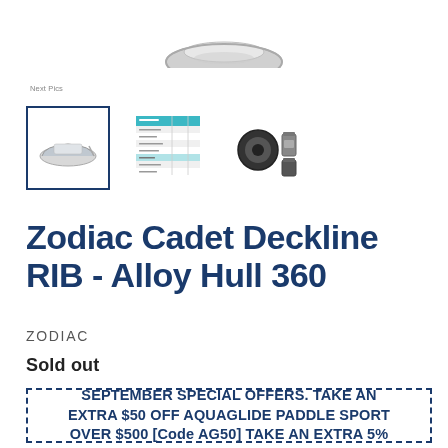[Figure (photo): Partial top view of an inflatable boat (RIB) cropped at the top of the page]
Next Pics
[Figure (photo): Thumbnail 1: Inflatable RIB boat side view with blue border selected]
[Figure (photo): Thumbnail 2: Specification/data sheet table image]
[Figure (photo): Thumbnail 3: Accessories items including a round black item and containers]
Zodiac Cadet Deckline RIB - Alloy Hull 360
ZODIAC
Sold out
SEPTEMBER SPECIAL OFFERS. TAKE AN EXTRA $50 OFF AQUAGLIDE PADDLE SPORT OVER $500 [Code AG50] TAKE AN EXTRA 5%